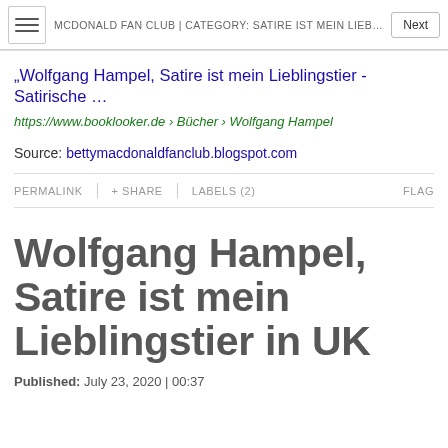MCDONALD FAN CLUB | CATEGORY: SATIRE IST MEIN LIEBLINGS…
„Wolfgang Hampel, Satire ist mein Lieblingstier - Satirische …
https://www.booklooker.de › Bücher › Wolfgang Hampel
Source: bettymacdonaldfanclub.blogspot.com
PERMALINK  + SHARE  LABELS (2)  FLAG
Wolfgang Hampel, Satire ist mein Lieblingstier in UK
Published:  July 23, 2020 | 00:37